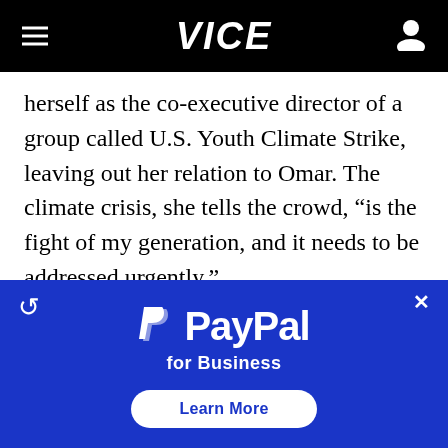VICE
herself as the co-executive director of a group called U.S. Youth Climate Strike, leaving out her relation to Omar. The climate crisis, she tells the crowd, “is the fight of my generation, and it needs to be addressed urgently.”
On stage, Isra reads off her candy-colored phone through tortoise shell glasses. Her wrist is wrapped in a green scrunchie that matches
[Figure (other): PayPal for Business advertisement overlay with blue background, PayPal logo, tagline 'for Business', and a 'Learn More' button]